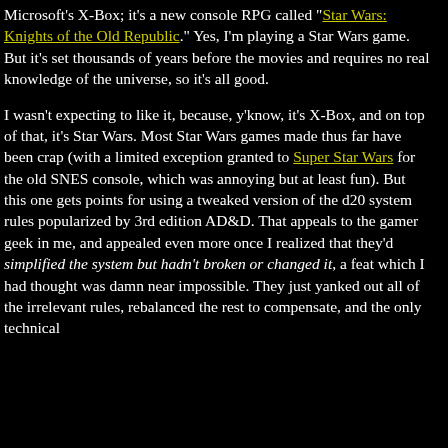Microsoft's X-Box; it's a new console RPG called "Star Wars: Knights of the Old Republic." Yes, I'm playing a Star Wars game. But it's set thousands of years before the movies and requires no real knowledge of the universe, so it's all good.

I wasn't expecting to like it, because, y'know, it's X-Box, and on top of that, it's Star Wars. Most Star Wars games made thus far have been crap (with a limited exception granted to Super Star Wars for the old SNES console, which was annoying but at least fun). But this one gets points for using a tweaked version of the d20 system rules popularized by 3rd edition AD&D. That appeals to the gamer geek in me, and appealed even more once I realized that they'd simplified the system but hadn't broken or changed it, a feat which I had thought was damn near impossible. They just yanked out all of the irrelevant rules, rebalanced the rest to compensate, and the only technical